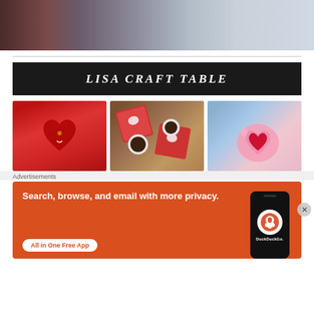[Figure (photo): Top partial photo showing blurred background with dark reddish-brown object on left and light blue-gray stripes on right]
[Figure (logo): Lisa Craft Table banner with white italic serif text on black background]
[Figure (photo): Three craft thumbnail images: red heart pillow with bow, fabric coasters with heart design and coffee mugs, pink heart pillow with red heart applique]
Advertisements
[Figure (infographic): DuckDuckGo advertisement with orange background. Text: Search, browse, and email with more privacy. All in One Free App. Shows DuckDuckGo logo on phone image.]